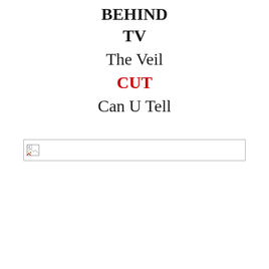BEHIND
TV
The Veil
CUT
Can U Tell
[Figure (other): Broken image placeholder — a small broken image icon inside a rectangular bordered box]
Oops
2T
[Figure (photo): Partially visible object at the bottom of the page, appears to be a small figurine or similar item, cut off at page edge]